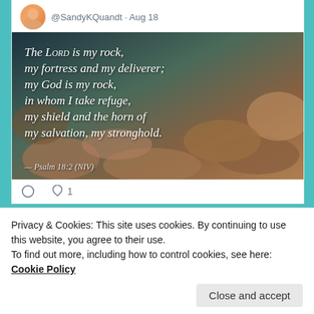@SandyKQuandt · Aug 18
[Figure (photo): Scripture image with rocks background. Text reads: 'The Lord is my rock, my fortress and my deliverer; my God is my rock, in whom I take refuge, my shield and the horn of my salvation, my stronghold. — Psalm 18:2 (NIV)']
♡ 1
Sandy Kirby Quandt
Privacy & Cookies: This site uses cookies. By continuing to use this website, you agree to their use.
To find out more, including how to control cookies, see here: Cookie Policy
Close and accept